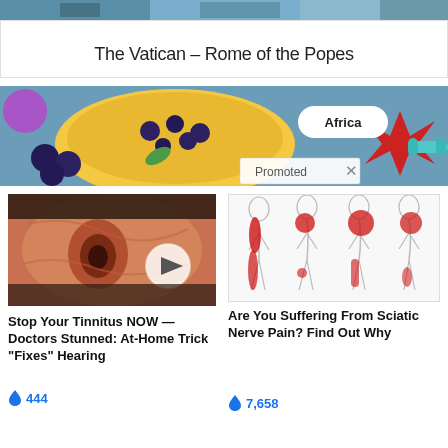[Figure (photo): Top portion of a card showing a photo of Rome/Vatican scenery at the top edge]
The Vatican – Rome of the Popes
[Figure (photo): Banner image showing a smoothie bowl with blueberries and a red starfish on blue background, with 'Africa' label badge and 'Promoted X' tag]
[Figure (photo): Ad thumbnail showing close-up of human ear with video play button overlay]
Stop Your Tinnitus NOW — Doctors Stunned: At-Home Trick "Fixes" Hearing
🔥 444
[Figure (illustration): Ad thumbnail showing medical illustration of human body profiles with red highlighted sciatic nerve pain areas]
Are You Suffering From Sciatic Nerve Pain? Find Out Why
🔥 7,658